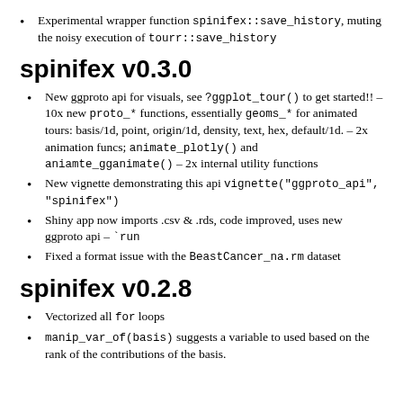Experimental wrapper function spinifex::save_history, muting the noisy execution of tourr::save_history
spinifex v0.3.0
New ggproto api for visuals, see ?ggplot_tour() to get started!! – 10x new proto_* functions, essentially geoms_* for animated tours: basis/1d, point, origin/1d, density, text, hex, default/1d. – 2x animation funcs; animate_plotly() and aniamte_gganimate() – 2x internal utility functions
New vignette demonstrating this api vignette("ggproto_api", "spinifex")
Shiny app now imports .csv & .rds, code improved, uses new ggproto api – `run
Fixed a format issue with the BeastCancer_na.rm dataset
spinifex v0.2.8
Vectorized all for loops
manip_var_of(basis) suggests a variable to used based on the rank of the contributions of the basis.